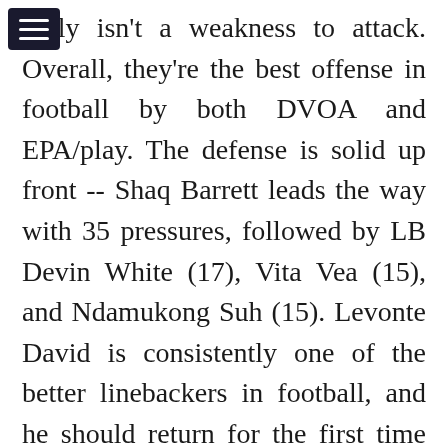mply isn't a weakness to attack. Overall, they're the best offense in football by both DVOA and EPA/play. The defense is solid up front -- Shaq Barrett leads the way with 35 pressures, followed by LB Devin White (17), Vita Vea (15), and Ndamukong Suh (15). Levonte David is consistently one of the better linebackers in football, and he should return for the first time since week 5 (ankle). On the back end, Antoine Winfield Jr and Jordan Whitehead are a solid safety tandem, but they've caught the injury bug at cornerback. They brought in Richard Sherman, who